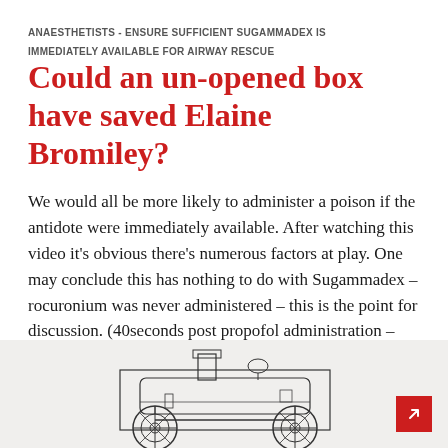ANAESTHETISTS - ENSURE SUFFICIENT SUGAMMADEX IS IMMEDIATELY AVAILABLE FOR AIRWAY RESCUE
Could an un-opened box have saved Elaine Bromiley?
We would all be more likely to administer a poison if the antidote were immediately available. After watching this video it’s obvious there’s numerous factors at play. One may conclude this has nothing to do with Sugammadex – rocuronium was never administered – this is the point for discussion. (40seconds post propofol administration – unable to insert LMA) To state Sugammadex could have saved Elaine … Continue reading
5 COMMENTS
[Figure (illustration): Black and white technical illustration of a mechanical engine or locomotive component, partially visible at the bottom of the page]